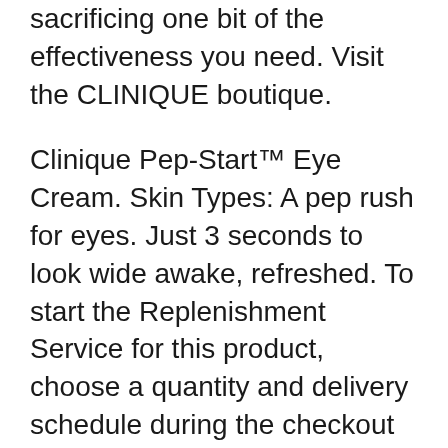sacrificing one bit of the effectiveness you need. Visit the CLINIQUE boutique.
Clinique Pep-Start™ Eye Cream. Skin Types: A pep rush for eyes. Just 3 seconds to look wide awake, refreshed. To start the Replenishment Service for this product, choose a quantity and delivery schedule during the checkout process. Please enter your email address to write a review. We will recognize you if you have an existing How does this [product:clinique-pep-start-double-bubble-purifying-mask] work for those who have tried it? Is there a better one out there? @influenster. 3 answers. Is this highly scented ? 3 answers. REVIEWS. Start